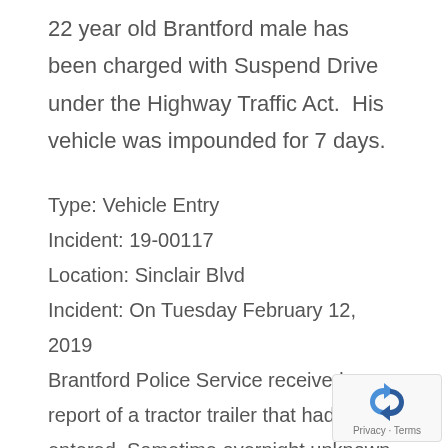22 year old Brantford male has been charged with Suspend Drive under the Highway Traffic Act. His vehicle was impounded for 7 days.
Type: Vehicle Entry
Incident: 19-00117
Location: Sinclair Blvd
Incident: On Tuesday February 12, 2019 Brantford Police Service received a report of a tractor trailer that had been entered. Sometime overnight unknown person(s) broke the lock and seal to a trailer parked on Sinclair Blvd. At the time of the report
[Figure (logo): reCAPTCHA privacy badge with Google reCAPTCHA logo and Privacy · Terms text]